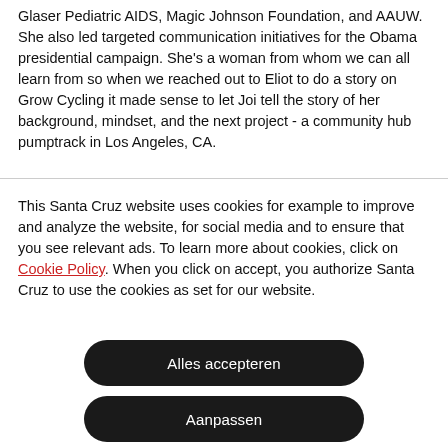Glaser Pediatric AIDS, Magic Johnson Foundation, and AAUW. She also led targeted communication initiatives for the Obama presidential campaign. She's a woman from whom we can all learn from so when we reached out to Eliot to do a story on Grow Cycling it made sense to let Joi tell the story of her background, mindset, and the next project - a community hub pumptrack in Los Angeles, CA.
This Santa Cruz website uses cookies for example to improve and analyze the website, for social media and to ensure that you see relevant ads. To learn more about cookies, click on Cookie Policy. When you click on accept, you authorize Santa Cruz to use the cookies as set for our website.
Alles accepteren
Aanpassen
Alles afwijzen